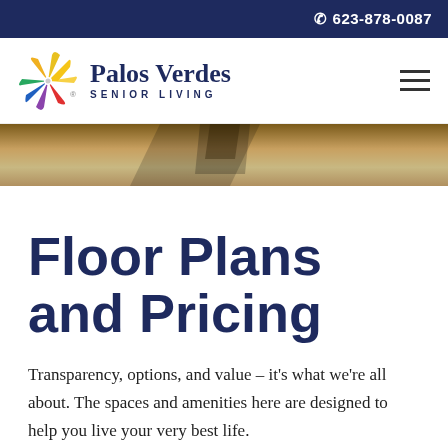623-878-0087
[Figure (logo): Palos Verdes Senior Living logo with colorful pinwheel and dark navy text]
[Figure (photo): Hero image strip showing warm brown tones, appears to be flooring material]
Floor Plans and Pricing
Transparency, options, and value – it's what we're all about. The spaces and amenities here are designed to help you live your very best life.